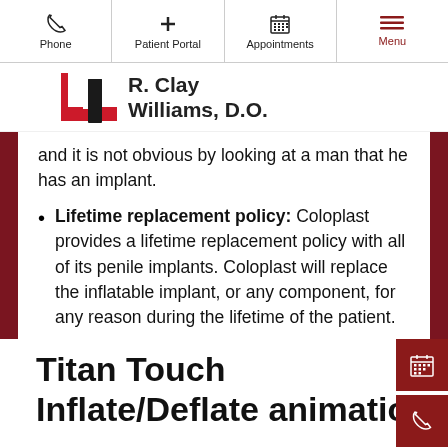Phone | Patient Portal | Appointments | Menu
[Figure (logo): R. Clay Williams D.O. logo with red and black stylized letter R]
and it is not obvious by looking at a man that he has an implant.
Lifetime replacement policy: Coloplast provides a lifetime replacement policy with all of its penile implants. Coloplast will replace the inflatable implant, or any component, for any reason during the lifetime of the patient.
Titan Touch Inflate/Deflate animation